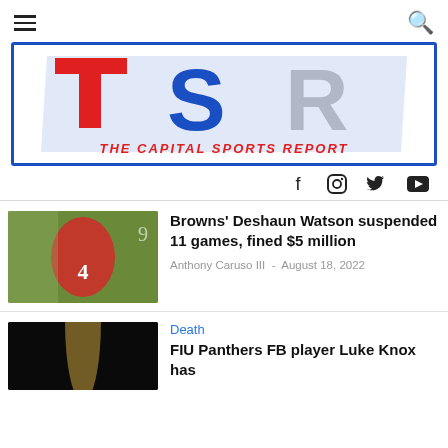[Figure (logo): The Capital Sports Report (TSR) logo with blue border, red and blue block letters TSR, and red italic text 'THE CAPITAL SPORTS REPORT' below]
[Figure (infographic): Social media icons: Facebook, Instagram, Twitter, YouTube]
[Figure (photo): Photo of Deshaun Watson in red jersey number 4]
Browns' Deshaun Watson suspended 11 games, fined $5 million
Anthony Caruso III - August 18, 2022
Death
FIU Panthers FB player Luke Knox has